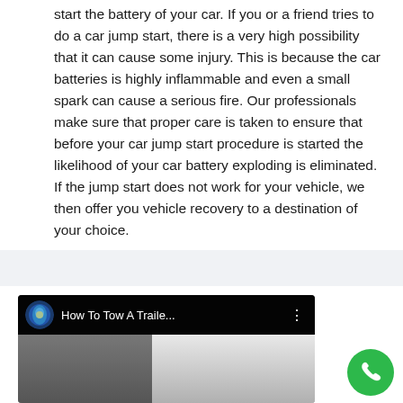start the battery of your car. If you or a friend tries to do a car jump start, there is a very high possibility that it can cause some injury. This is because the car batteries is highly inflammable and even a small spark can cause a serious fire. Our professionals make sure that proper care is taken to ensure that before your car jump start procedure is started the likelihood of your car battery exploding is eliminated. If the jump start does not work for your vehicle, we then offer you vehicle recovery to a destination of your choice.
[Figure (screenshot): YouTube video thumbnail showing 'How To Tow A Traile...' with a channel avatar, video title bar, and partial video content showing a building/structure]